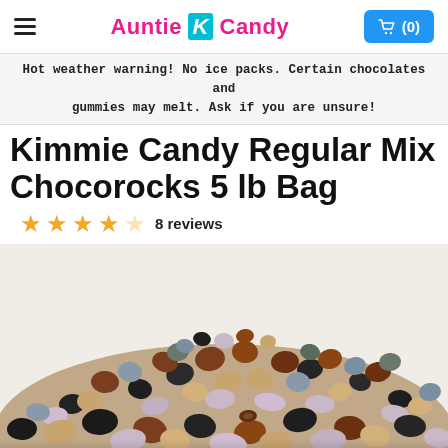Auntie K Candy — menu and cart (0)
Hot weather warning! No ice packs. Certain chocolates and gummies may melt. Ask if you are unsure!
Kimmie Candy Regular Mix Chocorocks 5 lb Bag
4 out of 5 stars — 8 reviews
[Figure (photo): Pile of Kimmie Candy Chocorocks in various colors — black, brown, tan, pink/lavender, blue-gray, and green-gray rock-shaped chocolate candies.]